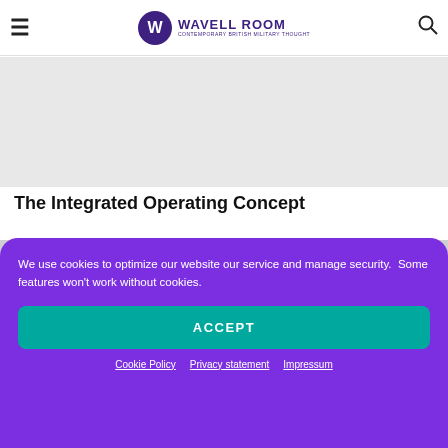Wavell Room — Contemporary British Military Thought
[Figure (photo): Gray placeholder image at top of page, partially visible article header image]
The Integrated Operating Concept
[Figure (photo): Gray placeholder image for article content image]
We use cookies to optimize our website our service and manage security.  Some features won't work without cookies.
ACCEPT
Cookie Policy · Privacy statement · Impressum